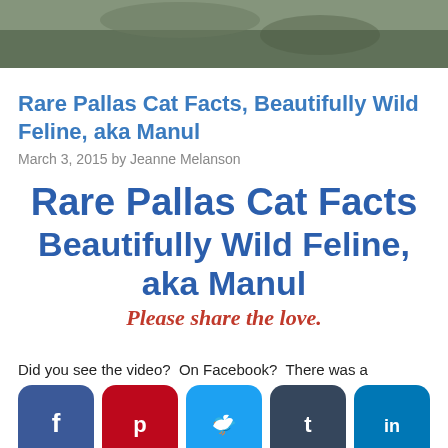[Figure (photo): Top portion of a photo of a Pallas cat, cropped at top of page]
Rare Pallas Cat Facts, Beautifully Wild Feline, aka Manul
March 3, 2015 by Jeanne Melanson
Rare Pallas Cat Facts
Beautifully Wild Feline, aka Manul
Please share the love.
Did you see the video?  On Facebook?  There was a beautiful cat that had never been before to ask and to find out what it was. Turned out to be a Pallas's Cat, otherwise known as a Manul.  So I did some research on it, of course, and